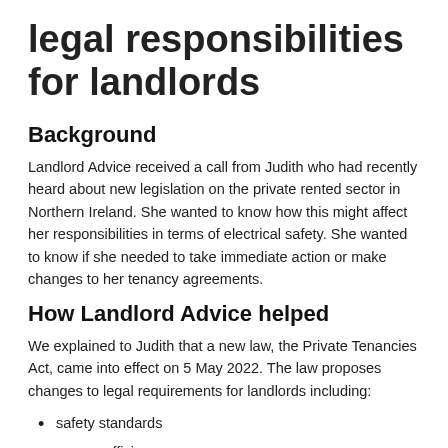legal responsibilities for landlords
Background
Landlord Advice received a call from Judith who had recently heard about new legislation on the private rented sector in Northern Ireland. She wanted to know how this might affect her responsibilities in terms of electrical safety. She wanted to know if she needed to take immediate action or make changes to her tenancy agreements.
How Landlord Advice helped
We explained to Judith that a new law, the Private Tenancies Act, came into effect on 5 May 2022. The law proposes changes to legal requirements for landlords including:
safety standards
energy efficiency